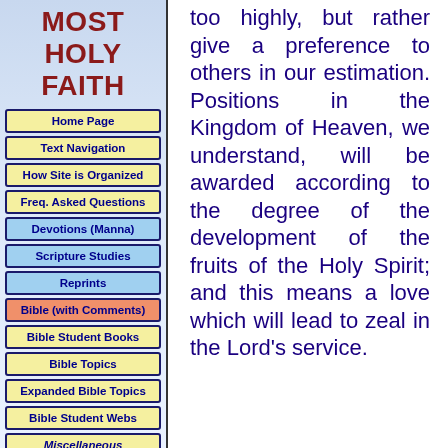MOST HOLY FAITH
Home Page
Text Navigation
How Site is Organized
Freq. Asked Questions
Devotions (Manna)
Scripture Studies
Reprints
Bible (with Comments)
Bible Student Books
Bible Topics
Expanded Bible Topics
Bible Student Webs
Miscellaneous
too highly, but rather give a preference to others in our estimation. Positions in the Kingdom of Heaven, we understand, will be awarded according to the degree of the development of the fruits of the Holy Spirit; and this means a love which will lead to zeal in the Lord's service.